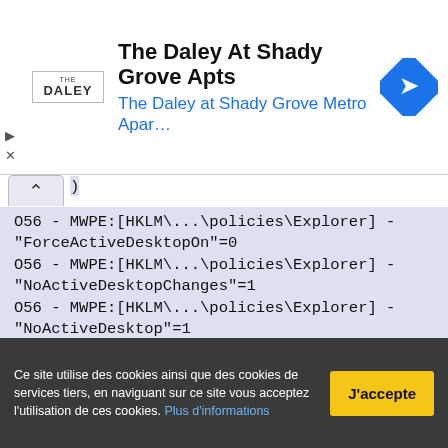[Figure (screenshot): Advertisement banner for 'The Daley At Shady Grove Apts' with logo, title, subtitle in blue, and a navigation arrow icon on the right.]
O56 - MWPE:[HKLM\...\policies\Explorer] - "ForceActiveDesktopOn"=0
O56 - MWPE:[HKLM\...\policies\Explorer] - "NoActiveDesktopChanges"=1
O56 - MWPE:[HKLM\...\policies\Explorer] - "NoActiveDesktop"=1
O56 - MWPE:[HKLM\...\policies\Explorer] - "NoDriveTypeAutoRun"=28
~ MWPE Keys: 4 Scanned in 00mn 00s


---\\ Liste des pilotes du système (SDL) (O58)
O58 - SDL:22/08/2013 - 13:43:41 ---A- ( LSI - LSI 3ware SCSI
Ce site utilise des cookies ainsi que des cookies de services tiers, en naviguant sur ce site vous acceptez l'utilisation de ces cookies. Plus d'informations